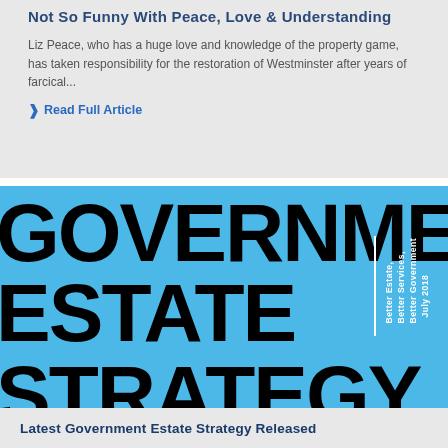Not So Funny With Peace, Love & Understanding
Liz Peace, who has a huge love and knowledge of the property game, has taken responsibility for the restoration of Westminster after years of farcical...
Read Full Article
[Figure (illustration): Government Estate Strategy document cover image: large bold black text 'GOVERNMENT ESTATE STRATEGY' on blue background with white vertical text 'Better Estate, Better Services, Better Government' and 'July 2018']
Latest Government Estate Strategy Released